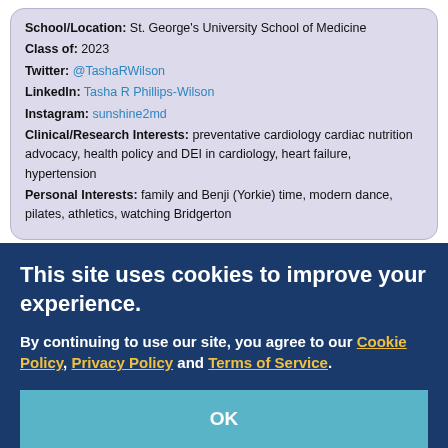School/Location: St. George's University School of Medicine
Class of: 2023
Twitter: @TashaRWilson
LinkedIn: Tasha R Phillips-Wilson
Instagram: sunshine2md
Clinical/Research Interests: preventative cardiology cardiac nutrition advocacy, health policy and DEI in cardiology, heart failure, hypertension
Personal Interests: family and Benji (Yorkie) time, modern dance, pilates, athletics, watching Bridgerton
Lucia (Luci) Schroeder
This site uses cookies to improve your experience.
By continuing to use our site, you agree to our Cookie Policy, Privacy Policy and Terms of Service.
OK